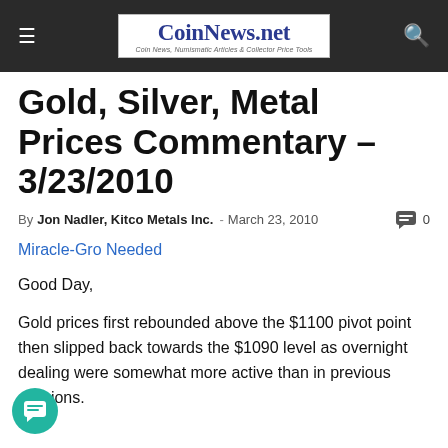CoinNews.net — Coin News, Numismatic Articles & Collector Price Tools
Gold, Silver, Metal Prices Commentary – 3/23/2010
By Jon Nadler, Kitco Metals Inc. - March 23, 2010  0
Miracle-Gro Needed
Good Day,
Gold prices first rebounded above the $1100 pivot point then slipped back towards the $1090 level as overnight dealing were somewhat more active than in previous sessions.